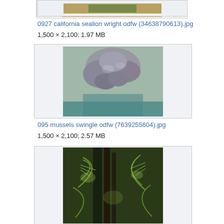[Figure (photo): Partial top image of a sea lion or animal outdoors, cropped at top of page]
0927 california sealion wright odfw (34638790613).jpg
1,500 × 2,100; 1.97 MB
[Figure (photo): Close-up photo of mussels clustered together, showing shells with barnacles in water]
095 mussels swingle odfw (7639255604).jpg
1,500 × 2,100; 2.57 MB
[Figure (photo): Photo of ferns or kelp/seaweed vegetation, green fronds visible, partially cut off at bottom]